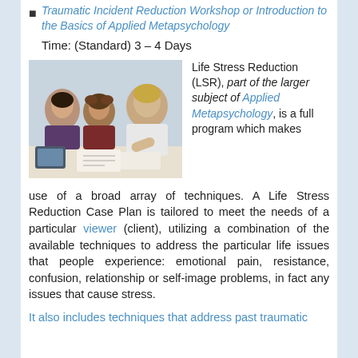Traumatic Incident Reduction Workshop or Introduction to the Basics of Applied Metapsychology
Time: (Standard) 3 – 4 Days
[Figure (photo): Three people studying together at a table, writing and looking at materials.]
Life Stress Reduction (LSR), part of the larger subject of Applied Metapsychology, is a full program which makes use of a broad array of techniques. A Life Stress Reduction Case Plan is tailored to meet the needs of a particular viewer (client), utilizing a combination of the available techniques to address the particular life issues that people experience: emotional pain, resistance, confusion, relationship or self-image problems, in fact any issues that cause stress.
It also includes techniques that address past traumatic